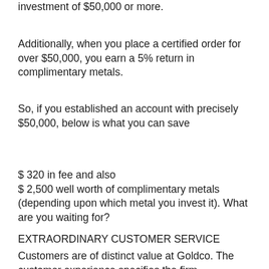investment of $50,000 or more.
Additionally, when you place a certified order for over $50,000, you earn a 5% return in complimentary metals.
So, if you established an account with precisely $50,000, below is what you can save
$ 320 in fee and also
$ 2,500 well worth of complimentary metals (depending upon which metal you invest it). What are you waiting for?
EXTRAORDINARY CUSTOMER SERVICE
Customers are of distinct value at Goldco. The customer experience specifies the firm